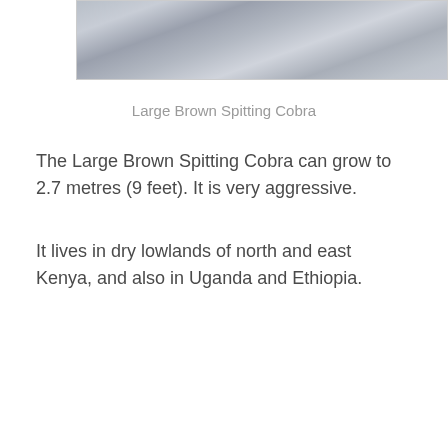[Figure (photo): Photograph of a Large Brown Spitting Cobra, showing mottled grey and brown textured skin/scales pattern.]
Large Brown Spitting Cobra
The Large Brown Spitting Cobra can grow to 2.7 metres (9 feet). It is very aggressive.
It lives in dry lowlands of north and east Kenya, and also in Uganda and Ethiopia.